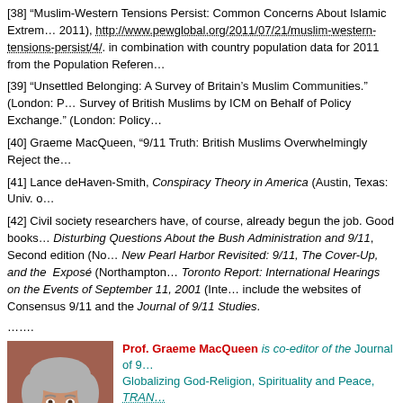[38] “Muslim-Western Tensions Persist: Common Concerns About Islamic Extrem... 2011), http://www.pewglobal.org/2011/07/21/muslim-western-tensions-persist/4/. in combination with country population data for 2011 from the Population Referen...
[39] “Unsettled Belonging: A Survey of Britain’s Muslim Communities.” (London: P... Survey of British Muslims by ICM on Behalf of Policy Exchange.” (London: Policy...
[40] Graeme MacQueen, “9/11 Truth: British Muslims Overwhelmingly Reject the...
[41] Lance deHaven-Smith, Conspiracy Theory in America (Austin, Texas: Univ. o...
[42] Civil society researchers have, of course, already begun the job. Good books... Disturbing Questions About the Bush Administration and 9/11, Second edition (No... New Pearl Harbor Revisited: 9/11, The Cover-Up, and the Exposé (Northampton... Toronto Report: International Hearings on the Events of September 11, 2001 (Inte... include the websites of Consensus 9/11 and the Journal of 9/11 Studies.
…......
Prof. Graeme MacQueen is co-editor of the Journal of 9... Globalizing God-Religion, Spirituality and Peace, TRAN... MacQueen was founding director of the Centre for Peac... where he taught for 30 years. He holds a Ph.D. in Buddhist Studies from Harvard Uni... Peace Development Environment. MacQueen was an or...
[Figure (photo): Headshot photo of Prof. Graeme MacQueen, a middle-aged man with grey hair wearing a dark turtleneck, against a reddish-brown background.]